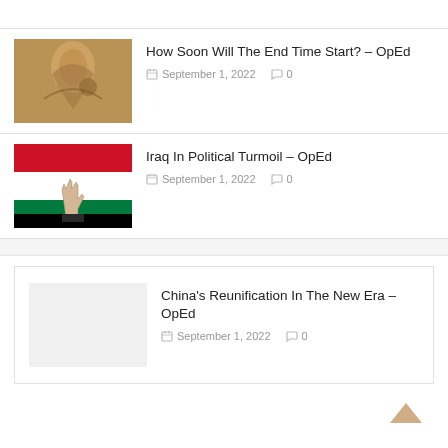[Figure (photo): Stone angel sculpture]
How Soon Will The End Time Start? – OpEd
September 1, 2022   0
[Figure (photo): Iraqi flag with peace sign hand]
Iraq In Political Turmoil – OpEd
September 1, 2022   0
China's Reunification In The New Era – OpEd
September 1, 2022   0